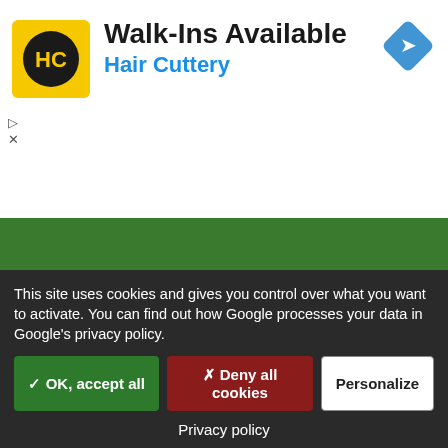[Figure (logo): Hair Cuttery HC logo — yellow rounded square with HC monogram in black circle]
Walk-Ins Available
Hair Cuttery
[Figure (other): Blue diamond-shaped navigation/directions icon with white arrow]
login Fair Calendar
Login for Event Organisers
Login for Trade Show Suppliers
© 2008-2022 Sima Media GmbH | Texts, images, graphics and the design of this website are protected by copyright. Any use beyond the narrow limits of copyright law is not permitted without consent. Abuse will be admonished without warning. The logos and
This site uses cookies and gives you control over what you want to activate. You can find out how Google processes your data in Google's privacy policy.
✓ OK, accept all
✗ Deny all cookies
Personalize
Privacy policy